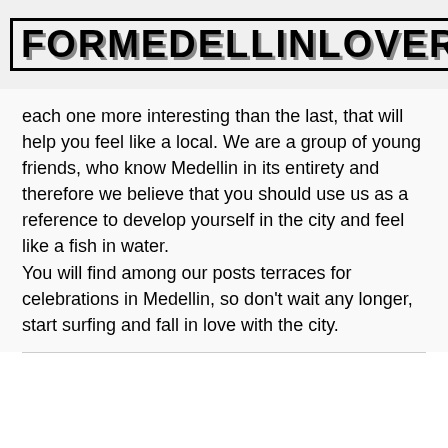FORMEDELLINLOVERS
each one more interesting than the last, that will help you feel like a local. We are a group of young friends, who know Medellin in its entirety and therefore we believe that you should use us as a reference to develop yourself in the city and feel like a fish in water.
You will find among our posts terraces for celebrations in Medellin, so don't wait any longer, start surfing and fall in love with the city.